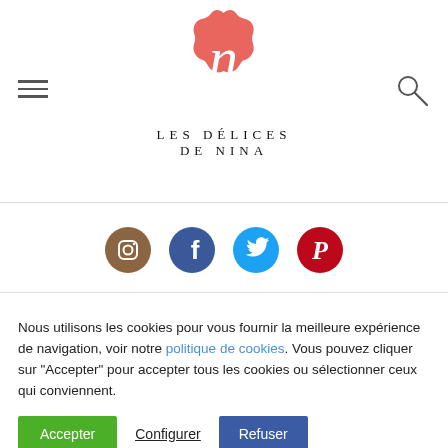[Figure (logo): Les Délices de Nina logo: coral/salmon scallop-edged circle with cursive N, text LES DÉLICES DE NINA below]
[Figure (infographic): Social media icons row: Instagram (brown), Facebook (blue), Twitter (cyan), Pinterest (red)]
Nous utilisons les cookies pour vous fournir la meilleure expérience de navigation, voir notre politique de cookies. Vous pouvez cliquer sur "Accepter" pour accepter tous les cookies ou sélectionner ceux qui conviennent.
Accepter
Configurer
Refuser